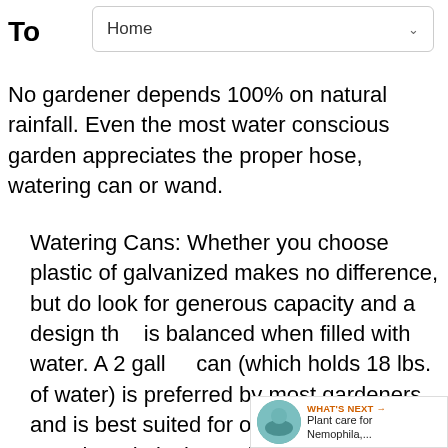Home
To
No gardener depends 100% on natural rainfall. Even the most water conscious garden appreciates the proper hose, watering can or wand.
Watering Cans: Whether you choose plastic of galvanized makes no difference, but do look for generous capacity and a design that is balanced when filled with water. A 2 gallon can (which holds 18 lbs. of water) is preferred by most gardeners and is best suited for outdoor use. Indoor can be relatively smaller with narrower spouts and roses (the filter head).